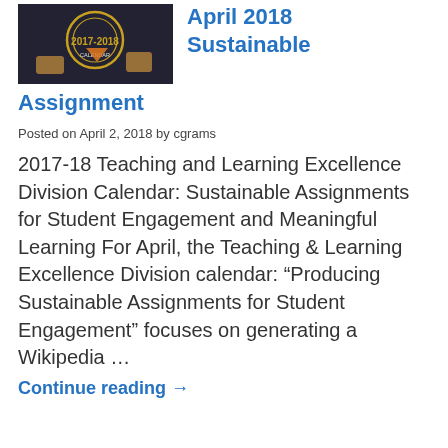[Figure (photo): Thumbnail image showing a 2017-2018 calendar cover with hands and a seal/logo on a dark background]
April 2018 Sustainable Assignment
Posted on April 2, 2018 by cgrams
2017-18 Teaching and Learning Excellence Division Calendar: Sustainable Assignments for Student Engagement and Meaningful Learning For April, the Teaching & Learning Excellence Division calendar: “Producing Sustainable Assignments for Student Engagement” focuses on generating a Wikipedia …
Continue reading →